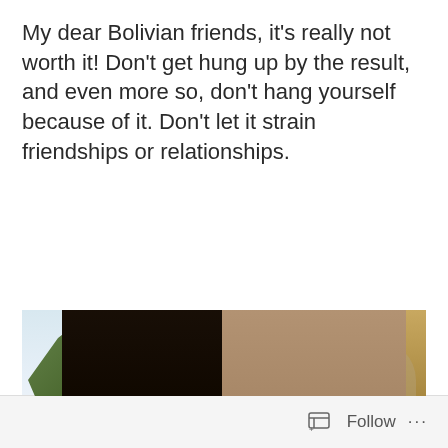My dear Bolivian friends, it's really not worth it! Don't get hung up by the result, and even more so, don't hang yourself because of it. Don't let it strain friendships or relationships.
[Figure (photo): Two people kissing in front of an ornate baroque church facade with a bell tower on the right and palm fronds visible in the upper left corner.]
Follow ···